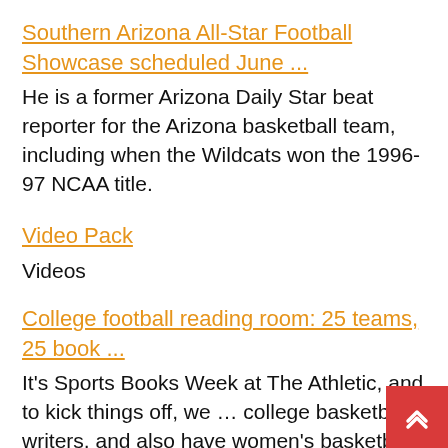Southern Arizona All-Star Football Showcase scheduled June ...
He is a former Arizona Daily Star beat reporter for the Arizona basketball team, including when the Wildcats won the 1996-97 NCAA title.
Video Pack
Videos
College football reading room: 25 teams, 25 book ...
It’s Sports Books Week at The Athletic, and to kick things off, we ... college basketball writers, and also have women’s basketball book recommendations, too. ... formerly of the Detroit Free Press and now with Sports